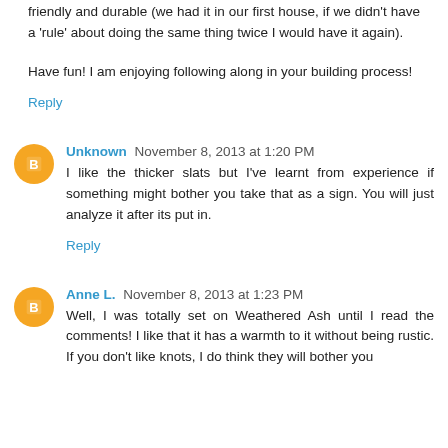friendly and durable (we had it in our first house, if we didn't have a 'rule' about doing the same thing twice I would have it again).
Have fun! I am enjoying following along in your building process!
Reply
Unknown  November 8, 2013 at 1:20 PM
I like the thicker slats but I've learnt from experience if something might bother you take that as a sign. You will just analyze it after its put in.
Reply
Anne L.  November 8, 2013 at 1:23 PM
Well, I was totally set on Weathered Ash until I read the comments! I like that it has a warmth to it without being rustic. If you don't like knots, I do think they will bother you